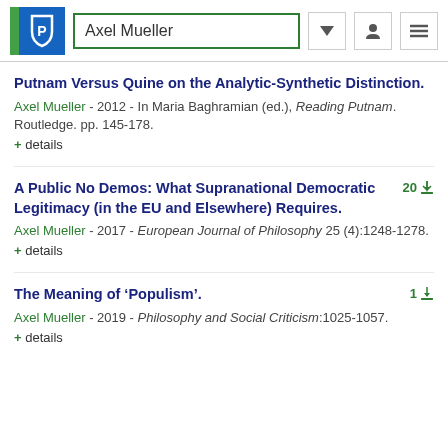Axel Mueller
Putnam Versus Quine on the Analytic-Synthetic Distinction.
Axel Mueller - 2012 - In Maria Baghramian (ed.), Reading Putnam. Routledge. pp. 145-178.
+ details
A Public No Demos: What Supranational Democratic Legitimacy (in the EU and Elsewhere) Requires.
Axel Mueller - 2017 - European Journal of Philosophy 25 (4):1248-1278.
+ details
The Meaning of ‘Populism’.
Axel Mueller - 2019 - Philosophy and Social Criticism:1025-1057.
+ details